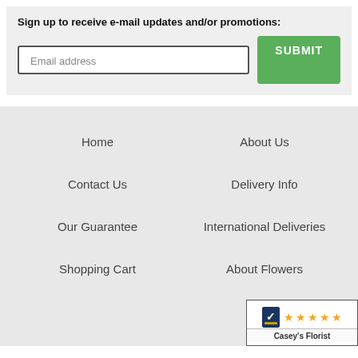Sign up to receive e-mail updates and/or promotions:
Email address
SUBMIT
Home
About Us
Contact Us
Delivery Info
Our Guarantee
International Deliveries
Shopping Cart
About Flowers
[Figure (logo): Casey's Florist five-star rating badge with shopping cart logo icon and five orange stars]